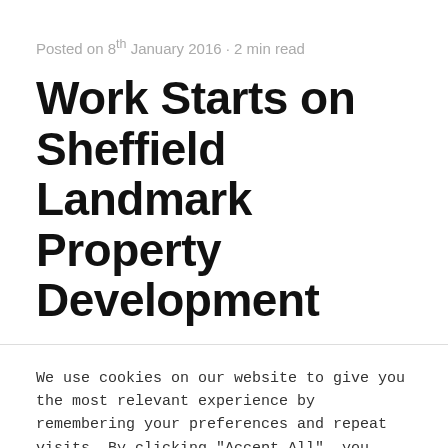Posted on 8th January 2016 • 2 min read
Work Starts on Sheffield Landmark Property Development
We use cookies on our website to give you the most relevant experience by remembering your preferences and repeat visits. By clicking "Accept All", you consent to the use of ALL the cookies. However, you may visit "Cookie Settings" to provide a controlled consent.